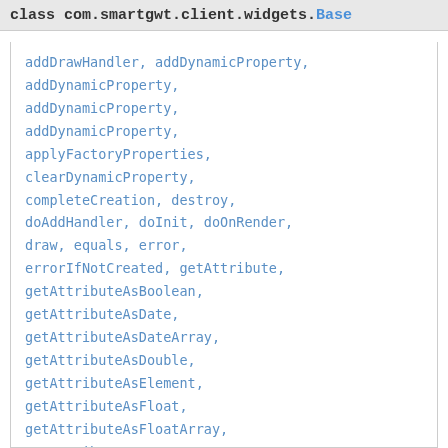class com.smartgwt.client.widgets.Base
addDrawHandler, addDynamicProperty, addDynamicProperty, addDynamicProperty, addDynamicProperty, applyFactoryProperties, clearDynamicProperty, completeCreation, destroy, doAddHandler, doInit, doOnRender, draw, equals, error, errorIfNotCreated, getAttribute, getAttributeAsBoolean, getAttributeAsDate, getAttributeAsDateArray, getAttributeAsDouble, getAttributeAsElement, getAttributeAsFloat, getAttributeAsFloatArray, getAttributeAsInt, getAttributeAsIntArray